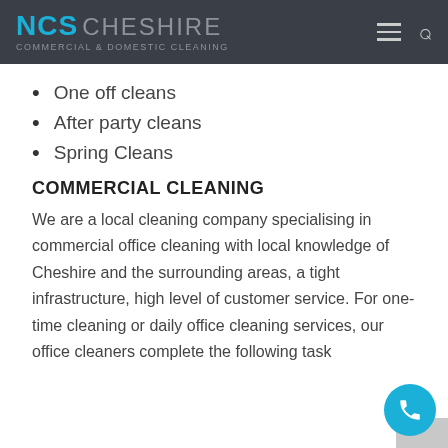NCS CHESHIRE COMMERCIAL & DOMESTIC CLEANING
One off cleans
After party cleans
Spring Cleans
COMMERCIAL CLEANING
We are a local cleaning company specialising in commercial office cleaning with local knowledge of Cheshire and the surrounding areas, a tight infrastructure, high level of customer service. For one-time cleaning or daily office cleaning services, our office cleaners complete the following task